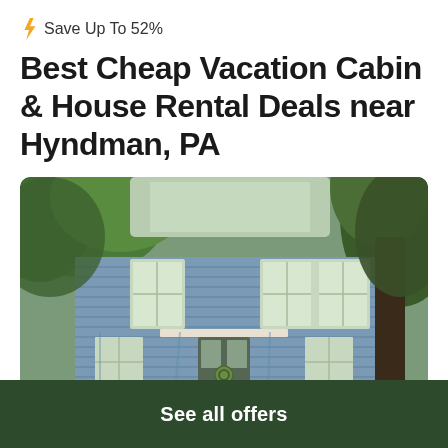⚡ Save Up To 52%
Best Cheap Vacation Cabin & House Rental Deals near Hyndman, PA
[Figure (photo): Photo of a two-story blue house with white trim and green shutters, surrounded by trees]
See all offers